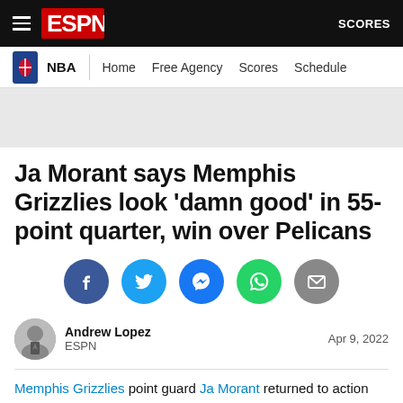ESPN — SCORES
NBA | Home  Free Agency  Scores  Schedule
Ja Morant says Memphis Grizzlies look 'damn good' in 55-point quarter, win over Pelicans
[Figure (infographic): Social sharing icons: Facebook, Twitter, Messenger, WhatsApp, Email]
Andrew Lopez
ESPN
Apr 9, 2022
Memphis Grizzlies point guard Ja Morant returned to action